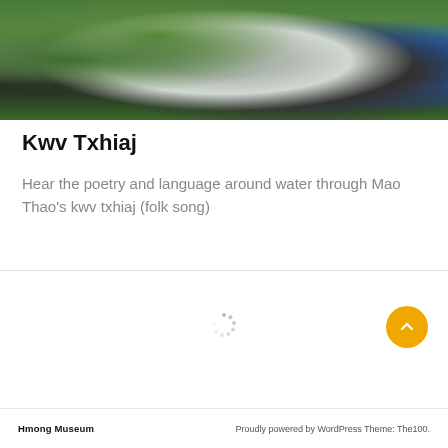[Figure (photo): A person wearing traditional Hmong silver jewelry and dark embroidered clothing, standing among green corn/plant leaves with blue clothing visible, photographed outdoors.]
Kwv Txhiaj
Hear the poetry and language around water through Mao Thao's kwv txhiaj (folk song)
[Figure (other): Loading spinner icon indicating content is loading]
Hmong Museum   Proudly powered by WordPress Theme: The100.